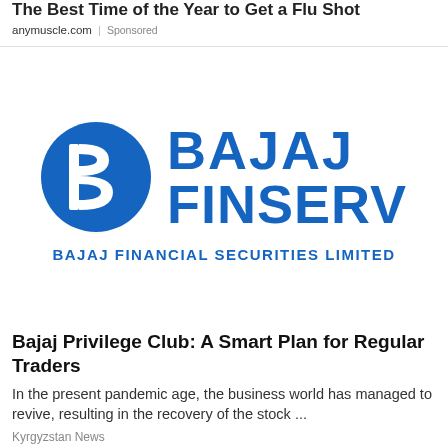The Best Time of the Year to Get a Flu Shot
anymuscle.com | Sponsored
[Figure (logo): Bajaj Finserv logo — blue circle with B monogram on the left, and BAJAJ / FINSERV text in bold blue on the right, with BAJAJ FINANCIAL SECURITIES LIMITED below]
Bajaj Privilege Club: A Smart Plan for Regular Traders
In the present pandemic age, the business world has managed to revive, resulting in the recovery of the stock ...
Kyrgyzstan News